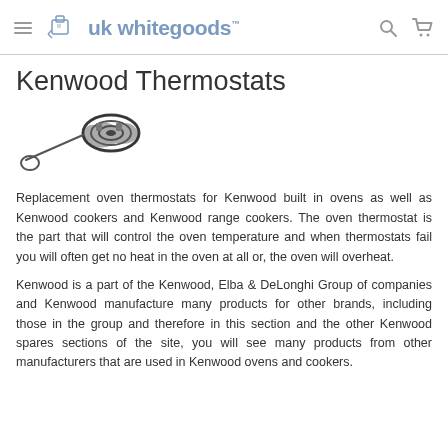uk whitegoods
Kenwood Thermostats
[Figure (photo): Photo of a thermostat coil and probe component for an oven]
Replacement oven thermostats for Kenwood built in ovens as well as Kenwood cookers and Kenwood range cookers. The oven thermostat is the part that will control the oven temperature and when thermostats fail you will often get no heat in the oven at all or, the oven will overheat.
Kenwood is a part of the Kenwood, Elba & DeLonghi Group of companies and Kenwood manufacture many products for other brands, including those in the group and therefore in this section and the other Kenwood spares sections of the site, you will see many products from other manufacturers that are used in Kenwood ovens and cookers.